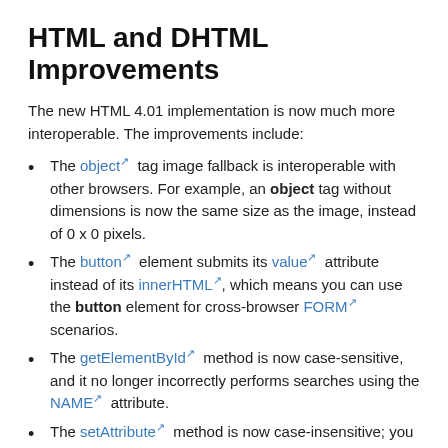HTML and DHTML Improvements
The new HTML 4.01 implementation is now much more interoperable. The improvements include:
The object tag image fallback is interoperable with other browsers. For example, an object tag without dimensions is now the same size as the image, instead of 0 x 0 pixels.
The button element submits its value attribute instead of its innerHTML, which means you can use the button element for cross-browser FORM scenarios.
The getElementById method is now case-sensitive, and it no longer incorrectly performs searches using the NAME attribute.
The setAttribute method is now case-insensitive; you do not need to use "camel case" (for example,